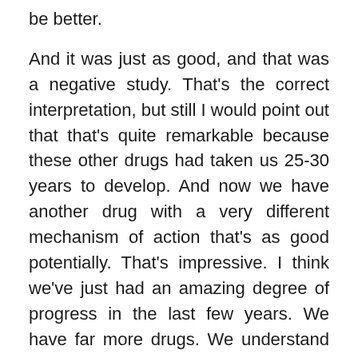be better.

And it was just as good, and that was a negative study. That's the correct interpretation, but still I would point out that that's quite remarkable because these other drugs had taken us 25-30 years to develop. And now we have another drug with a very different mechanism of action that's as good potentially. That's impressive. I think we've just had an amazing degree of progress in the last few years. We have far more drugs. We understand far more about the disease – the technology at every point from diagnosis to assessment of response to the ability to evaluate better what we're not doing well. So,